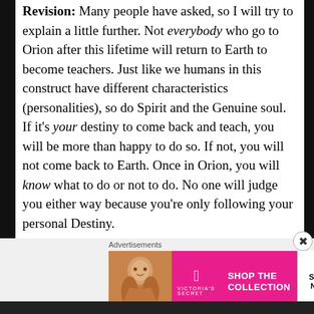Revision: Many people have asked, so I will try to explain a little further. Not everybody who go to Orion after this lifetime will return to Earth to become teachers. Just like we humans in this construct have different characteristics (personalities), so do Spirit and the Genuine soul. If it's your destiny to come back and teach, you will be more than happy to do so. If not, you will not come back to Earth. Once in Orion, you will know what to do or not to do. No one will judge you either way because you're only following your personal Destiny.

Most souls/Spirits will stay in Orion, and a few will
[Figure (other): Victoria's Secret advertisement banner with a woman's photo on the left, VS logo in center, 'SHOP THE COLLECTION' text, and a 'SHOP NOW' button]